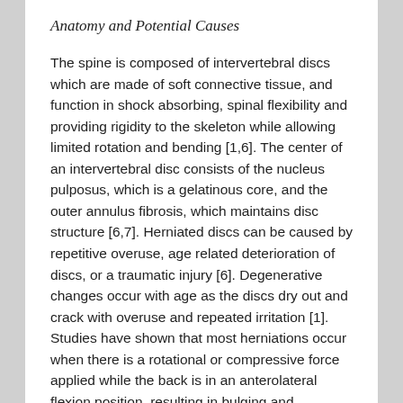Anatomy and Potential Causes
The spine is composed of intervertebral discs which are made of soft connective tissue, and function in shock absorbing, spinal flexibility and providing rigidity to the skeleton while allowing limited rotation and bending [1,6]. The center of an intervertebral disc consists of the nucleus pulposus, which is a gelatinous core, and the outer annulus fibrosis, which maintains disc structure [6,7]. Herniated discs can be caused by repetitive overuse, age related deterioration of discs, or a traumatic injury [6]. Degenerative changes occur with age as the discs dry out and crack with overuse and repeated irritation [1]. Studies have shown that most herniations occur when there is a rotational or compressive force applied while the back is in an anterolateral flexion position, resulting in bulging and